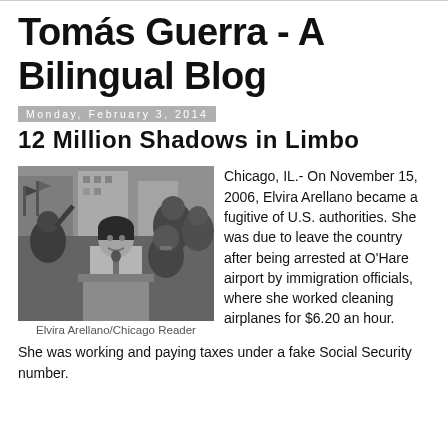Tomás Guerra - A Bilingual Blog
Monday, February 3, 2014
12 Million Shadows in Limbo
[Figure (photo): Black and white photo of Elvira Arellano speaking at a podium with a microphone, crowd visible in background]
Elvira Arellano/Chicago Reader
Chicago, IL.- On November 15, 2006, Elvira Arellano became a fugitive of U.S. authorities. She was due to leave the country after being arrested at O'Hare airport by immigration officials, where she worked cleaning airplanes for $6.20 an hour. She was working and paying taxes under a fake Social Security number.